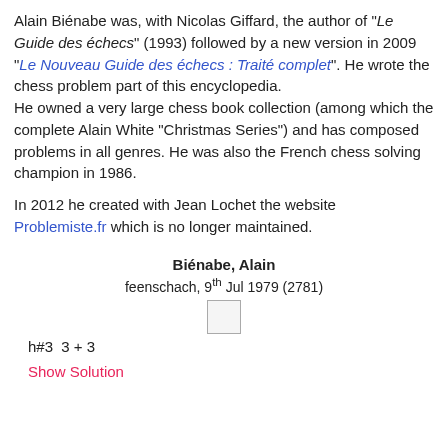Alain Biénabe was, with Nicolas Giffard, the author of "Le Guide des échecs" (1993) followed by a new version in 2009 "Le Nouveau Guide des échecs : Traité complet". He wrote the chess problem part of this encyclopedia.
He owned a very large chess book collection (among which the complete Alain White "Christmas Series") and has composed problems in all genres. He was also the French chess solving champion in 1986.

In 2012 he created with Jean Lochet the website Problemiste.fr which is no longer maintained.
Biénabe, Alain
feenschach, 9th Jul 1979 (2781)
[Figure (other): Small chess board placeholder square (empty/stub diagram)]
Show Solution